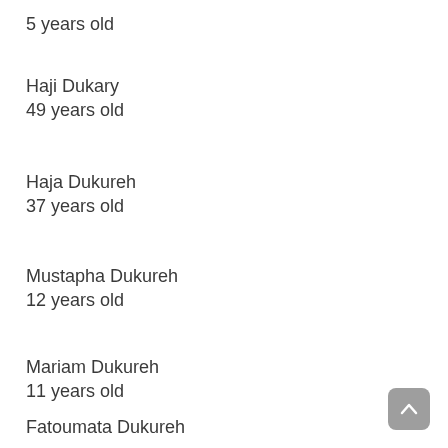5 years old
Haji Dukary
49 years old
Haja Dukureh
37 years old
Mustapha Dukureh
12 years old
Mariam Dukureh
11 years old
Fatoumata Dukureh